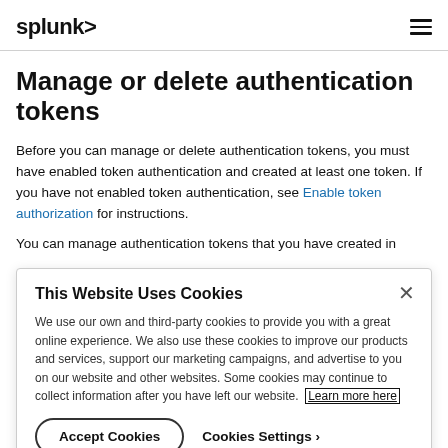splunk>
Manage or delete authentication tokens
Before you can manage or delete authentication tokens, you must have enabled token authentication and created at least one token. If you have not enabled token authentication, see Enable token authorization for instructions.
You can manage authentication tokens that you have created in
This Website Uses Cookies
We use our own and third-party cookies to provide you with a great online experience. We also use these cookies to improve our products and services, support our marketing campaigns, and advertise to you on our website and other websites. Some cookies may continue to collect information after you have left our website. Learn more here
Accept Cookies
Cookies Settings ›